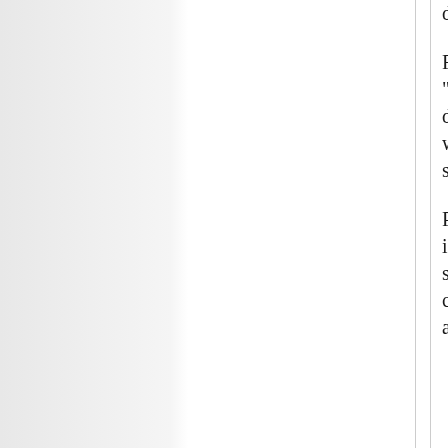depending on location back in the 19th century.
For those interested, see George Miller's "Pacific Northwest Weather" (2004). He's developed his own method for rating winter weather severity for the PNW, and it shows some interesting trends.
Perhaps some of this is due to the urban heat island effect's influence on urban climatology stations, some may be due to long-term solar cycles, and, of course, we have the anthropogenic GHG